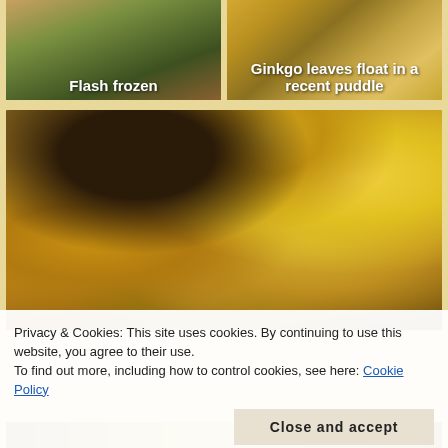[Figure (photo): Flash frozen plant/flower photo with white overlay text]
Flash frozen
[Figure (photo): Ginkgo leaves floating in a puddle]
Ginkgo leaves float in a recent puddle
[Figure (photo): Large photo of a ginkgo tree with bright yellow autumn leaves, dark trunk arching across frame, dramatic lighting]
Privacy & Cookies: This site uses cookies. By continuing to use this website, you agree to their use.
To find out more, including how to control cookies, see here: Cookie Policy
Close and accept
[Figure (photo): Bottom strip of another ginkgo/nature photo, partially visible]